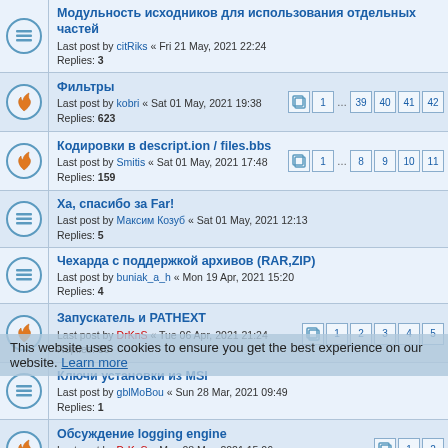Модульность исходников для использования отдельных частей — Last post by citRiks « Fri 21 May, 2021 22:24 — Replies: 3
Фильтры — Last post by kobri « Sat 01 May, 2021 19:38 — Replies: 623 — pages: 1 ... 39 40 41 42
Кодировки в descript.ion / files.bbs — Last post by Smitis « Sat 01 May, 2021 17:48 — Replies: 159 — pages: 1 ... 8 9 10 11
Ха, спасибо за Far! — Last post by Максим Козуб « Sat 01 May, 2021 12:13 — Replies: 5
Чехарда с поддержкой архивов (RAR,ZIP) — Last post by buniak_a_h « Mon 19 Apr, 2021 15:20 — Replies: 4
Запускатель и PATHEXT — Last post by DrKnS « Tue 06 Apr, 2021 21:24 — Replies: 66 — pages: 1 2 3 4 5
Ключи установки из MSI — Last post by gblMoBou « Sun 28 Mar, 2021 09:49 — Replies: 1
Обсуждение logging engine — Last post by DrKnS « Mon 08 Mar, 2021 15:06 — Replies: 28 — pages: 1 2
farconfig... — Редактор конфигурации...